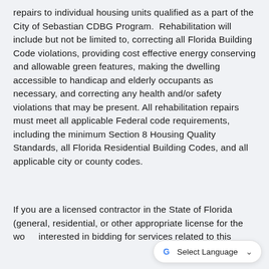repairs to individual housing units qualified as a part of the City of Sebastian CDBG Program. Rehabilitation will include but not be limited to, correcting all Florida Building Code violations, providing cost effective energy conserving and allowable green features, making the dwelling accessible to handicap and elderly occupants as necessary, and correcting any health and/or safety violations that may be present. All rehabilitation repairs must meet all applicable Federal code requirements, including the minimum Section 8 Housing Quality Standards, all Florida Residential Building Codes, and all applicable city or county codes.
If you are a licensed contractor in the State of Florida (general, residential, or other appropriate license for the wo… interested in bidding for services related to this